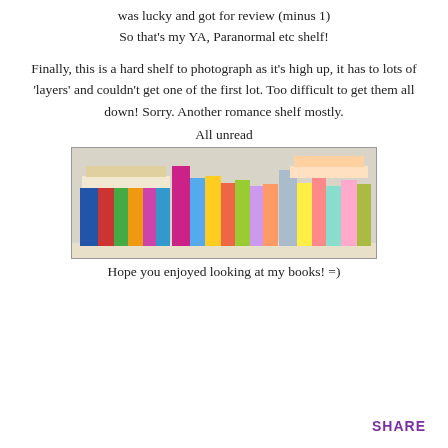was lucky and got for review (minus 1)
So that's my YA, Paranormal etc shelf!
Finally, this is a hard shelf to photograph as it's high up, it has to lots of 'layers' and couldn't get one of the first lot. Too difficult to get them all down! Sorry. Another romance shelf mostly.
All unread
[Figure (photo): A photograph of a bookshelf filled with colorful paperback books arranged in rows and layers.]
Hope you enjoyed looking at my books! =)
SHARE